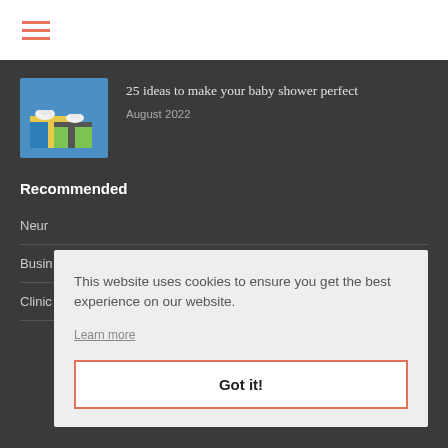[Figure (other): Hamburger menu icon with three coral/salmon colored horizontal lines]
[Figure (photo): Baby shower gift items — blue and green wrapped presents with baby booties on top]
25 ideas to make your baby shower perfect
August 2022
Recommended
Neur
Busin
Clinic
This website uses cookies to ensure you get the best experience on our website.
Learn more
Got it!